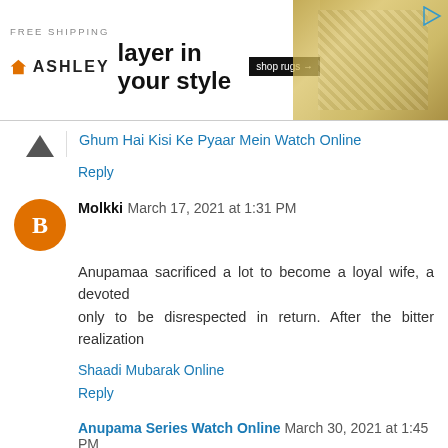[Figure (photo): Ashley Furniture advertisement banner: orange house logo, 'Ashley' brand name, 'FREE SHIPPING' text, tagline 'layer in your style', 'shop rugs →' button, decorative rug background on right side, play icon in top right corner]
Ghum Hai Kisi Ke Pyaar Mein Watch Online
Reply
Molkki March 17, 2021 at 1:31 PM
Anupamaa sacrificed a lot to become a loyal wife, a devoted
only to be disrespected in return. After the bitter realization
Shaadi Mubarak Online
Reply
Anupama Series Watch Online March 30, 2021 at 1:45 PM